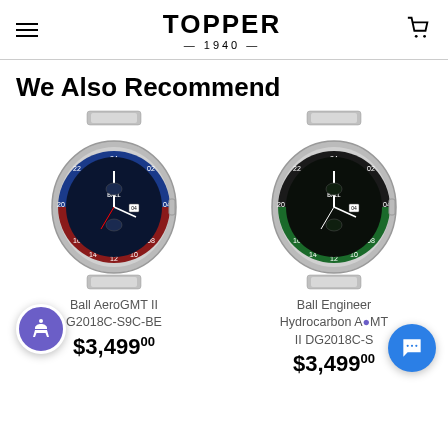TOPPER — 1940 —
We Also Recommend
[Figure (photo): Ball AeroGMT II watch with blue and red bezel on stainless steel bracelet]
Ball AeroGMT II G2018C-S9C-BE
$3,499.00
[Figure (photo): Ball Engineer Hydrocarbon AeroGMT II DG2018C-S watch with black and green bezel on stainless steel bracelet]
Ball Engineer Hydrocarbon AeroGMT II DG2018C-S
$3,499.00